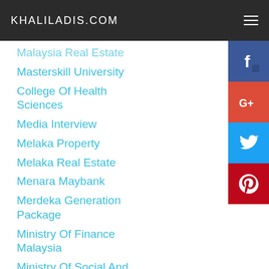KHALILADIS.COM
Malaysia Real Estate
Masterskill University
College Of Health Sciences
Media Interview
Melaka Property
Melaka Real Estate
Menara Maybank
Merdeka Generation Package
Ministry Of Finance Malaysia
Ministry Of Social And Family Development